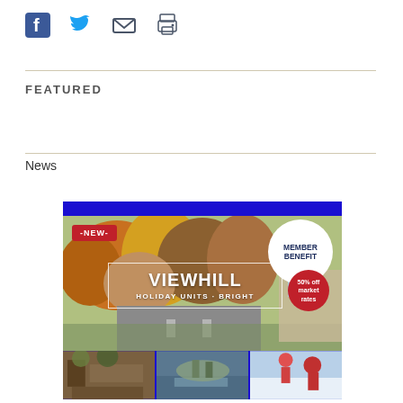[Figure (infographic): Social media share icons: Facebook, Twitter, Email, Print]
FEATURED
News
[Figure (photo): Advertisement for Viewhill Holiday Units - Bright. Shows autumn trees background with blue top bar, NEW badge in red, MEMBER BENEFIT circle in white, 50% off market rates red badge, Viewhill Holiday Units - Bright text box, and bottom row of three photos showing cafe/outdoor seating, a pond/lake, and people skiing in snow.]